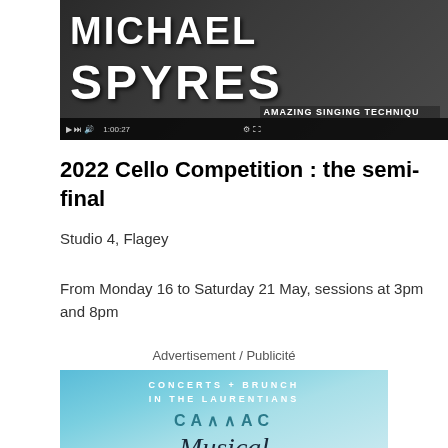[Figure (screenshot): Video screenshot showing 'MICHAEL SPYRES' in large white bold text on dark background, with video player controls at the bottom showing '1:00:27' timestamp and 'AMAZING SINGING TECHNIQUE' overlay text]
2022 Cello Competition : the semi-final
Studio 4, Flagey
From Monday 16 to Saturday 21 May, sessions at 3pm and 8pm
Advertisement / Publicité
[Figure (illustration): Advertisement banner with teal/blue background reading 'CONCERTS + BRUNCH IN THE LAURENTIANS', 'CA∧∧AC' logo, and 'Musical' in script font]